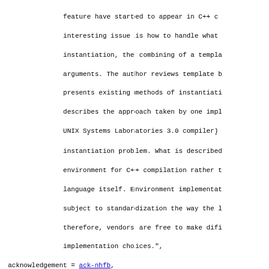feature have started to appear in C++ c
interesting issue is how to handle what
instantiation, the combining of a templa
arguments. The author reviews template b
presents existing methods of instantiati
describes the approach taken by one impl
UNIX Systems Laboratories 3.0 compiler)
instantiation problem. What is described
environment for C++ compilation rather t
language itself. Environment implementat
subject to standardization the way the l
therefore, vendors are free to make difi
implementation choices.",
acknowledgement = ack-nhfb,
classcodes =    "C6140D (High level languages); C6150C (
                interpreters and other processors); C612
                organisation)",
classification = "C6120 (File organisation); C6140D (Hi
                languages); C6150C (Compilers, interpre
                processors)",
keywords =      "C language; C++ compilation; C++ compi
                structures; Parametrized type; parametri
                program compilers; Template feature; te
                Template instantiation; template instant
                Systems Laboratories; Vendors; vendors",
thesaurus =     "C language; Data structures; Program co
treatment =     "P Practical",
}

@Article{Booch:1992:PDS,